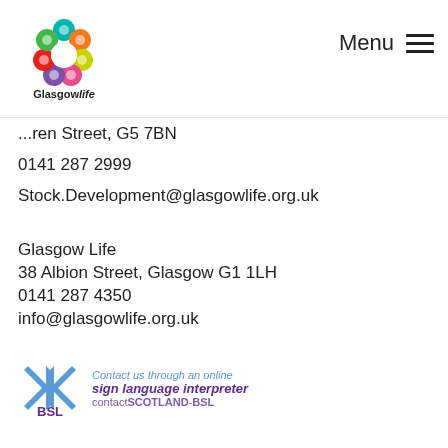Glasgowlife | Menu
...ren Street, G5 7BN
0141 287 2999
Stock.Development@glasgowlife.org.uk
Glasgow Life
38 Albion Street, Glasgow G1 1LH
0141 287 4350
info@glasgowlife.org.uk
[Figure (logo): BSL Scotland sign language interpreter logo with blue saltire cross and purple text reading 'Contact us through an online sign language interpreter contactSCOTLAND-BSL']